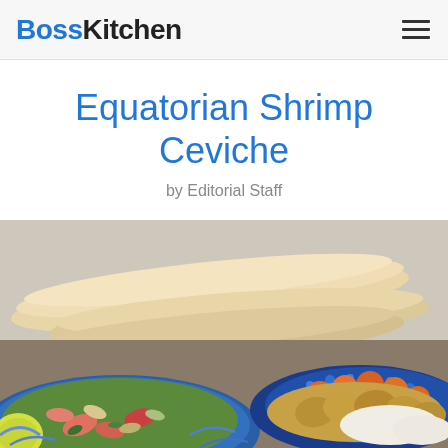BossKitchen
Equatorian Shrimp Ceviche
by Editorial Staff
[Figure (photo): Food photo showing shrimp ceviche dish with bread/flatbread in the background, a bowl of marinated shrimp with onions and vegetables, and another plate with corn and other accompaniments, served in colorful blue patterned bowls.]